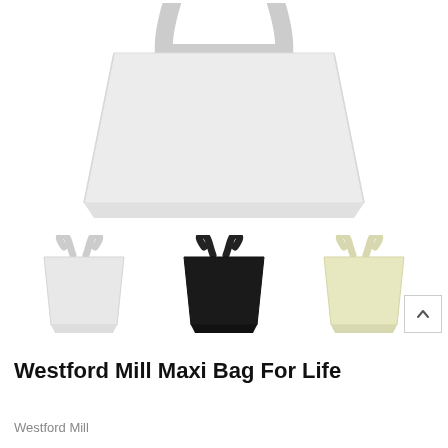[Figure (photo): Large white tote bag shown from the front on white background, partially cropped at top]
[Figure (photo): Three small tote bag thumbnails side by side: white bag on left, black bag in center, cream/light yellow bag on right]
Westford Mill Maxi Bag For Life
Westford Mill